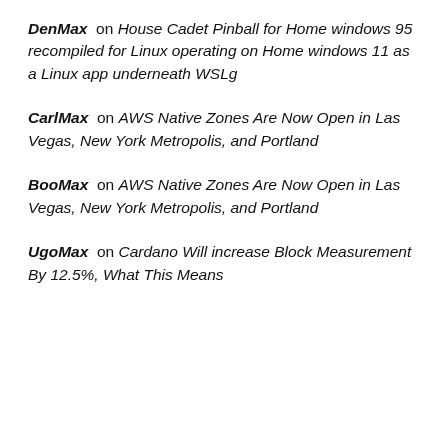DenMax on House Cadet Pinball for Home windows 95 recompiled for Linux operating on Home windows 11 as a Linux app underneath WSLg
CarlMax on AWS Native Zones Are Now Open in Las Vegas, New York Metropolis, and Portland
BooMax on AWS Native Zones Are Now Open in Las Vegas, New York Metropolis, and Portland
UgoMax on Cardano Will increase Block Measurement By 12.5%, What This Means